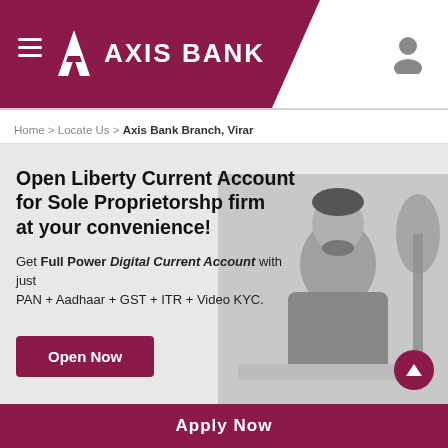[Figure (logo): Axis Bank logo with hamburger menu on dark maroon header background]
Home > Locate Us > Axis Bank Branch, Virar
Open Liberty Current Account for Sole Proprietorshp firm at your convenience!
Get Full Power Digital Current Account with just PAN + Aadhaar + GST + ITR + Video KYC.
[Figure (photo): Grayscale photo of a man looking at a laptop]
Open Now
Apply Now